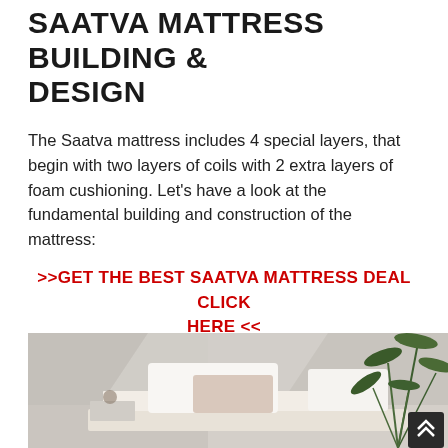SAATVA MATTRESS BUILDING & DESIGN
The Saatva mattress includes 4 special layers, that begin with two layers of coils with 2 extra layers of foam cushioning. Let's have a look at the fundamental building and construction of the mattress:
>>GET THE BEST SAATVA MATTRESS DEAL CLICK HERE <<
[Figure (photo): Photo of a Saatva mattress on a bed frame with white pillows and a green palm plant in the background, in a bright minimalist room.]